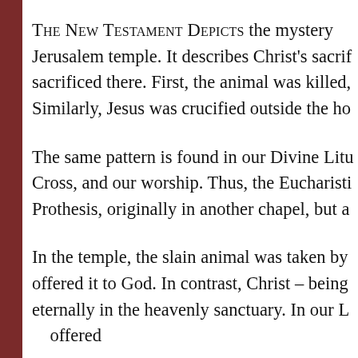THE NEW TESTAMENT DEPICTS the mystery of the Jerusalem temple. It describes Christ's sacrifice sacrificed there. First, the animal was killed, Similarly, Jesus was crucified outside the ho
The same pattern is found in our Divine Litu Cross, and our worship. Thus, the Eucharisti Prothesis, originally in another chapel, but a
In the temple, the slain animal was taken by offered it to God. In contrast, Christ – being eternally in the heavenly sanctuary. In our L